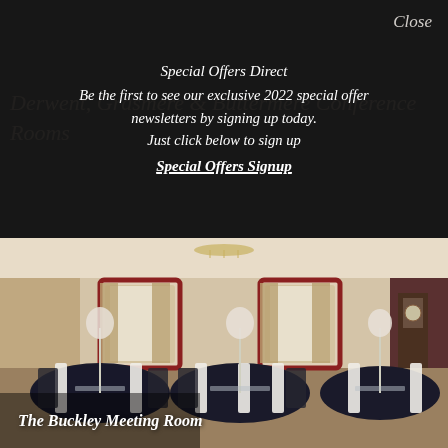Close
Derwent, Grasmere & Buttermere Conference Rooms
Special Offers Direct
Be the first to see our exclusive 2022 special offer newsletters by signing up today. Just click below to sign up
Special Offers Signup
[Figure (photo): Interior of The Buckley Meeting Room showing round tables with black tablecloths, white chair sashes, tall white feather centerpieces, floral curtains, arched mirrors, chandelier, and a grandfather clock in the corner.]
The Buckley Meeting Room